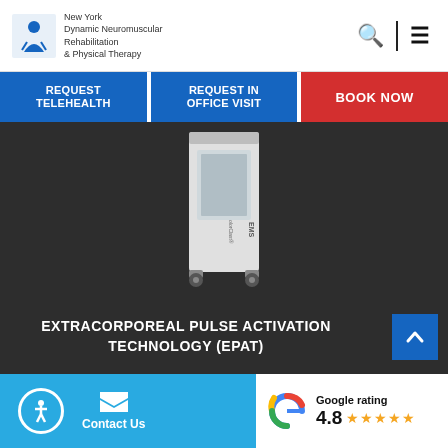[Figure (logo): New York Dynamic Neuromuscular Rehabilitation & Physical Therapy logo with blue figure illustration]
New York Dynamic Neuromuscular Rehabilitation & Physical Therapy
REQUEST TELEHEALTH
REQUEST IN OFFICE VISIT
BOOK NOW
[Figure (photo): EMS Swiss DolorClast medical device on a dark background]
EXTRACORPOREAL PULSE ACTIVATION TECHNOLOGY (EPAT)
Contact Us
Google rating 4.8